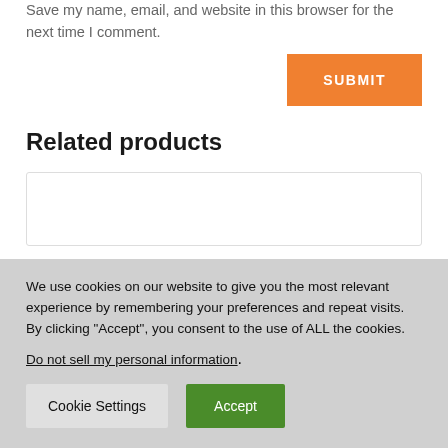Save my name, email, and website in this browser for the next time I comment.
SUBMIT
Related products
We use cookies on our website to give you the most relevant experience by remembering your preferences and repeat visits. By clicking “Accept”, you consent to the use of ALL the cookies.
Do not sell my personal information.
Cookie Settings
Accept